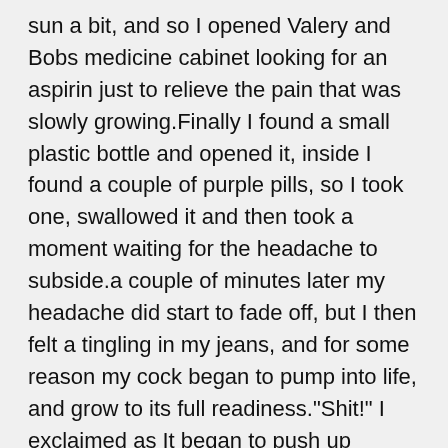sun a bit, and so I opened Valery and Bobs medicine cabinet looking for an aspirin just to relieve the pain that was slowly growing.Finally I found a small plastic bottle and opened it, inside I found a couple of purple pills, so I took one, swallowed it and then took a moment waiting for the headache to subside.a couple of minutes later my headache did start to fade off, but I then felt a tingling in my jeans, and for some reason my cock began to pump into life, and grow to its full readiness."Shit!" I exclaimed as It began to push up against my jeans making that familiar embarrassing tent "Oh fuck!" I then said as it began to throb and the urge to unleash it and give it a good tug began to grow."Fuck, fuck, fuck!" I exclaimed trying to work out what to do as the urge grew more.Then a knock at the door made me jump."Steve you okay in there?" asked Valery from the other side."Err... canlı bahis yeah just washing up!" I replied."You've been in there sometime honey, are you